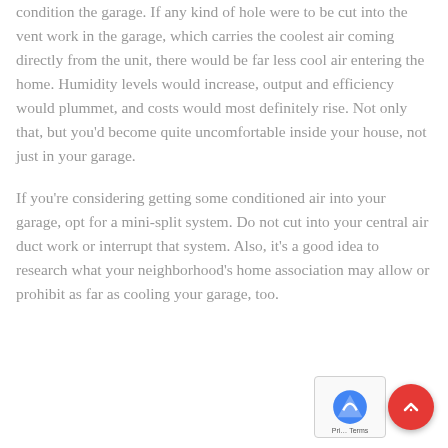condition the garage. If any kind of hole were to be cut into the vent work in the garage, which carries the coolest air coming directly from the unit, there would be far less cool air entering the home. Humidity levels would increase, output and efficiency would plummet, and costs would most definitely rise. Not only that, but you'd become quite uncomfortable inside your house, not just in your garage.
If you're considering getting some conditioned air into your garage, opt for a mini-split system. Do not cut into your central air duct work or interrupt that system. Also, it's a good idea to research what your neighborhood's home association may allow or prohibit as far as cooling your garage, too.